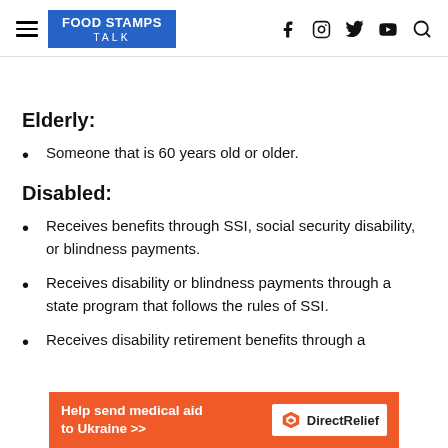Food Stamps Talk
Elderly:
Someone that is 60 years old or older.
Disabled:
Receives benefits through SSI, social security disability, or blindness payments.
Receives disability or blindness payments through a state program that follows the rules of SSI.
Receives disability retirement benefits through a
Help send medical aid to Ukraine >> DirectRelief